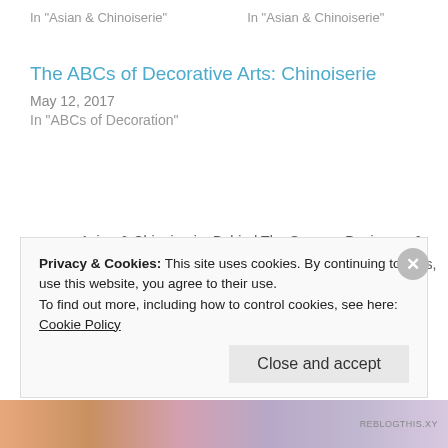In "Asian & Chinoiserie"
In "Asian & Chinoiserie"
The ABCs of Decorative Arts: Chinoiserie
May 12, 2017
In "ABCs of Decoration"
Asian & Chinoiserie, Behind The Scenes, Designers & Craftsmen, Focus on Art, History of Japanning, Interiors, Materials & Sources, Uncategorized
ANTIQUES
ART GALLERY
ART HISTORY
Privacy & Cookies: This site uses cookies. By continuing to use this website, you agree to their use.
To find out more, including how to control cookies, see here: Cookie Policy
Close and accept